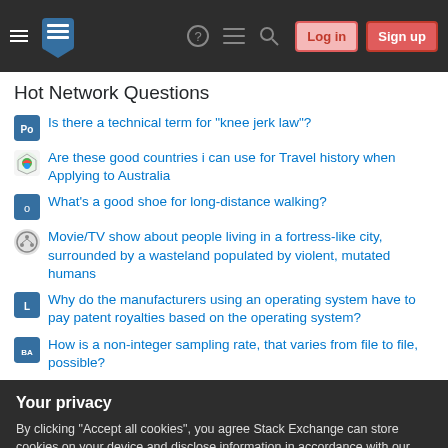Stack Exchange navigation bar with Log in and Sign up buttons
Hot Network Questions
Is there a technical term for "knee jerk law"?
Are these good countries i can use for Travel history when Applying to Australia
What's a good shoe for long-distance walking?
Movie/TV show about people living in a fortress-like city, surrounded by a wasteland populated by violent, mutated humans
Why do the manufacturers using an operating system have to pay patent royalties based on the operating system?
How is a non-integer sampling rate, that varies from file to file, possible?
Your privacy
By clicking "Accept all cookies", you agree Stack Exchange can store cookies on your device and disclose information in accordance with our Cookie Policy.
What could be the main source of national income for a small nation